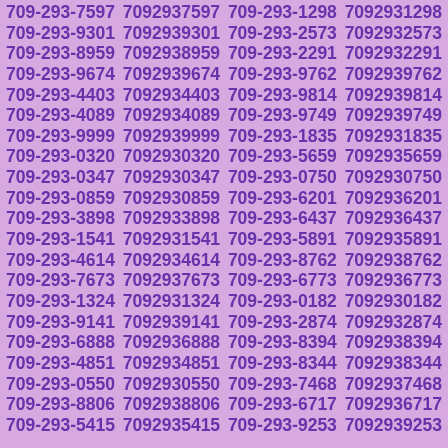709-293-7597 7092937597 709-293-1298 7092931298
709-293-9301 7092939301 709-293-2573 7092932573
709-293-8959 7092938959 709-293-2291 7092932291
709-293-9674 7092939674 709-293-9762 7092939762
709-293-4403 7092934403 709-293-9814 7092939814
709-293-4089 7092934089 709-293-9749 7092939749
709-293-9999 7092939999 709-293-1835 7092931835
709-293-0320 7092930320 709-293-5659 7092935659
709-293-0347 7092930347 709-293-0750 7092930750
709-293-0859 7092930859 709-293-6201 7092936201
709-293-3898 7092933898 709-293-6437 7092936437
709-293-1541 7092931541 709-293-5891 7092935891
709-293-4614 7092934614 709-293-8762 7092938762
709-293-7673 7092937673 709-293-6773 7092936773
709-293-1324 7092931324 709-293-0182 7092930182
709-293-9141 7092939141 709-293-2874 7092932874
709-293-6888 7092936888 709-293-8394 7092938394
709-293-4851 7092934851 709-293-8344 7092938344
709-293-0550 7092930550 709-293-7468 7092937468
709-293-8806 7092938806 709-293-6717 7092936717
709-293-5415 7092935415 709-293-9253 7092939253